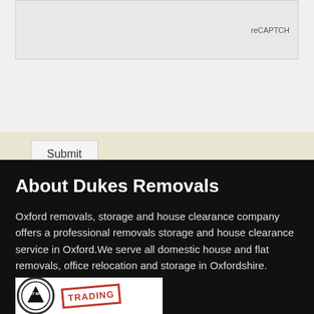[Figure (screenshot): reCAPTCHA widget box partially visible at top]
Submit
About Dukes Removals
Oxford removals, storage and house clearance company offers a professional removals storage and house clearance service in Oxford.We serve all domestic house and flat removals, office relocation and storage in Oxfordshire.
[Figure (logo): Buy With Confidence circular logo and Trading Standards stamp partially visible at bottom]